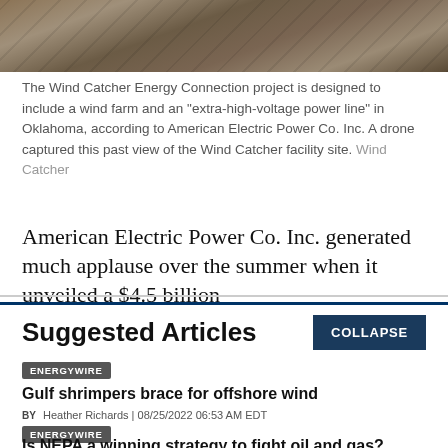[Figure (photo): Aerial drone view of Wind Catcher facility site showing agricultural fields in brown and tan tones from above]
The Wind Catcher Energy Connection project is designed to include a wind farm and an "extra-high-voltage power line" in Oklahoma, according to American Electric Power Co. Inc. A drone captured this past view of the Wind Catcher facility site. Wind Catcher
American Electric Power Co. Inc. generated much applause over the summer when it unveiled a $4.5 billion
Suggested Articles
COLLAPSE
ENERGYWIRE
Gulf shrimpers brace for offshore wind
BY Heather Richards | 08/25/2022 06:53 AM EDT
Read More >>
ENERGYWIRE
Is NEPA a winning strategy to fight oil and gas?